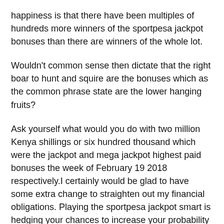happiness is that there have been multiples of hundreds more winners of the sportpesa jackpot bonuses than there are winners of the whole lot.
Wouldn't common sense then dictate that the right boar to hunt and squire are the bonuses which as the common phrase state are the lower hanging fruits?
Ask yourself what would you do with two million Kenya shillings or six hundred thousand which were the jackpot and mega jackpot highest paid bonuses the week of February 19 2018 respectively.I certainly would be glad to have some extra change to straighten out my financial obligations. Playing the sportpesa jackpot smart is hedging your chances to increase your probability of cracking the bonus stratosphere and by some good luck you may just hit the mother load and make your neighbors envious by being picked for one and pulling off a once in a!!!!